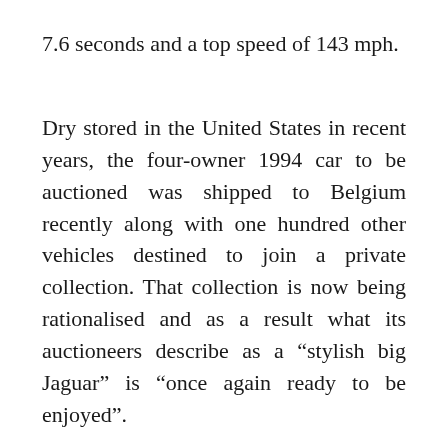7.6 seconds and a top speed of 143 mph.
Dry stored in the United States in recent years, the four-owner 1994 car to be auctioned was shipped to Belgium recently along with one hundred other vehicles destined to join a private collection. That collection is now being rationalised and as a result what its auctioneers describe as a “stylish big Jaguar” is “once again ready to be enjoyed”.